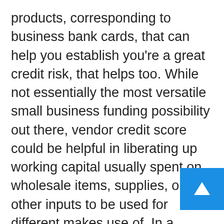products, corresponding to business bank cards, that can help you establish you're a great credit risk, that helps too. While not essentially the most versatile small business funding possibility out there, vendor credit score could be helpful in liberating up working capital usually spent on wholesale items, supplies, or other inputs to be used for different makes use of. In a vendor credit score arrangement, you get the products before you pay, with a set time interval to pay it off. This sort of financing is certainly considered a category of short-term loans, as you are anticipated to pay within a month to a couple months. The cost might be a set interest rate on the cost of the products or a charge for delayed payment. If you don't have a lump sum of cash, vendor credit could assist you to build your corporation credit revenue.